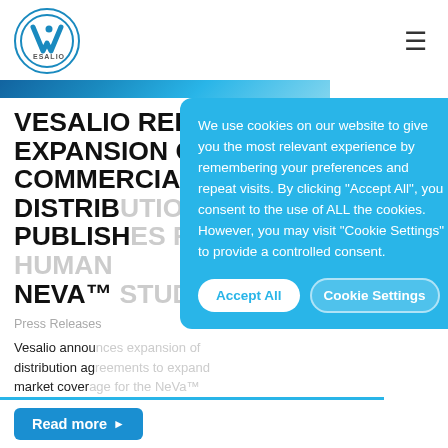VESALIO
[Figure (photo): Blue gradient banner image strip at top of page]
VESALIO REPORTS EXPANSION OF COMMERCIAL DISTRIBUTION AND PUBLISHES FIRST-IN-HUMAN NEVA™ STUDY
Press Releases
Vesalio announces expansion of distribution agreements to expand market coverage for the NeVa™ Neurothrombectomy device
We use cookies on our website to give you the most relevant experience by remembering your preferences and repeat visits. By clicking "Accept All", you consent to the use of ALL the cookies. However, you may visit "Cookie Settings" to provide a controlled consent.
Read more ▶